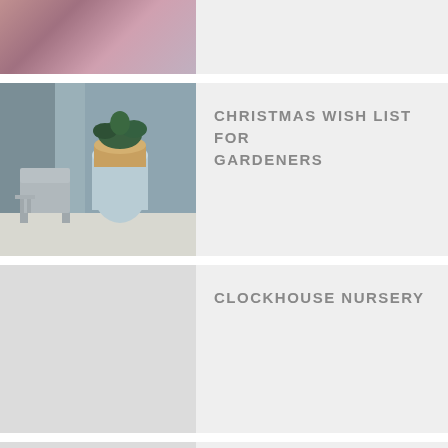[Figure (photo): Partial view of a photo showing colorful flowers or plants, cropped at top]
[Figure (photo): Photo of a tall pale blue teardrop-shaped planter with fern and woven rope base, beside a grey chair on a patio]
CHRISTMAS WISH LIST FOR GARDENERS
[Figure (photo): Placeholder image area for Clockhouse Nursery article]
CLOCKHOUSE NURSERY
[Figure (photo): Placeholder image area for Work That Autumn Magic article]
WORK THAT AUTUMN MAGIC